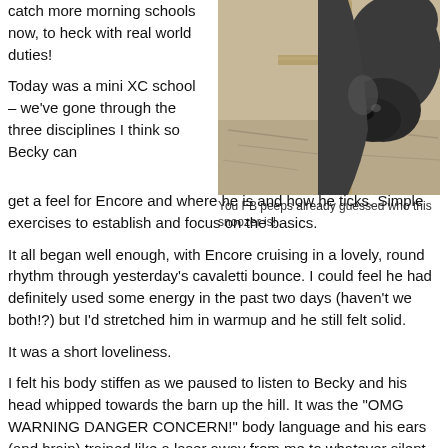catch more morning schools now, to heck with real world duties!
[Figure (photo): Close-up photo of a dark horse's nose sniffing near a wooden fence post, set against a sandy/gravelly ground background.]
You FB peeps already guessed who this snoozer is!
Today was a mini XC school – we've gone through the three disciplines I think so Becky can get a feel for Encore and where he is and how he ticks.  Simple exercises to establish and focus on the basics.
It all began well enough, with Encore cruising in a lovely, round rhythm through yesterday's cavaletti bounce.  I could feel he had definitely used some energy in the past two days (haven't we both!?) but I'd stretched him in warmup and he still felt solid.
It was a short loveliness.
I felt his body stiffen as we paused to listen to Becky and his head whipped towards the barn up the hill.  It was the "OMG WARNING DANGER CONCERN!" body language and his ears (and brain) trained like a laser away from me to whatever silent menace he perceived.